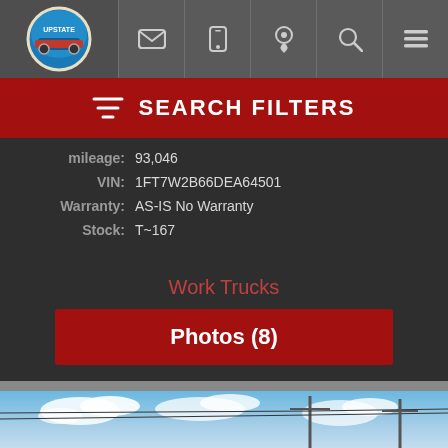[Figure (screenshot): Navigation bar with Upstate logo and icons for email, phone, location, search, and menu]
SEARCH FILTERS
| Mileage: | 93,046 |
| VIN: | 1FT7W2B66DEA64501 |
| Warranty: | AS-IS No Warranty |
| Stock: | T~167 |
Work Trucks
Photos (8)
[Figure (photo): Street scene with blue sky, clouds, utility poles and power lines]